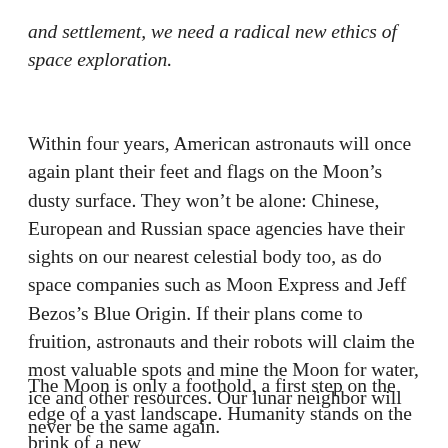and settlement, we need a radical new ethics of space exploration.
Within four years, American astronauts will once again plant their feet and flags on the Moon’s dusty surface. They won’t be alone: Chinese, European and Russian space agencies have their sights on our nearest celestial body too, as do space companies such as Moon Express and Jeff Bezos’s Blue Origin. If their plans come to fruition, astronauts and their robots will claim the most valuable spots and mine the Moon for water, ice and other resources. Our lunar neighbor will never be the same again.
The Moon is only a foothold, a first step on the edge of a vast landscape. Humanity stands on the brink of a new era of exploration and inhabitation of outer space, and